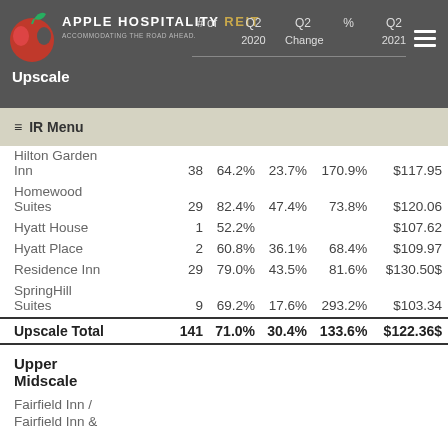Apple Hospitality REIT | # of | Q2 2020 | Q2 % Change | Q2 2021
Upscale
≡ IR Menu
|  | # of | Q2 2020 | Q2 % Change | Q2 2021 |
| --- | --- | --- | --- | --- |
| Hilton Garden Inn | 38 | 64.2% | 23.7% | 170.9% | $117.95 |
| Homewood Suites | 29 | 82.4% | 47.4% | 73.8% | $120.06 |
| Hyatt House | 1 | 52.2% |  |  | $107.62 |
| Hyatt Place | 2 | 60.8% | 36.1% | 68.4% | $109.97 |
| Residence Inn | 29 | 79.0% | 43.5% | 81.6% | $130.50 |
| SpringHill Suites | 9 | 69.2% | 17.6% | 293.2% | $103.34 |
| Upscale Total | 141 | 71.0% | 30.4% | 133.6% | $122.36 |
Upper Midscale
Fairfield Inn /
Fairfield Inn &